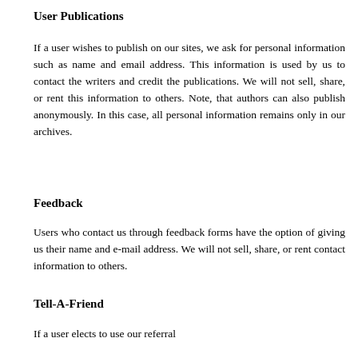User Publications
If a user wishes to publish on our sites, we ask for personal information such as name and email address. This information is used by us to contact the writers and credit the publications. We will not sell, share, or rent this information to others. Note, that authors can also publish anonymously. In this case, all personal information remains only in our archives.
Feedback
Users who contact us through feedback forms have the option of giving us their name and e-mail address. We will not sell, share, or rent contact information to others.
Tell-A-Friend
If a user elects to use our referral